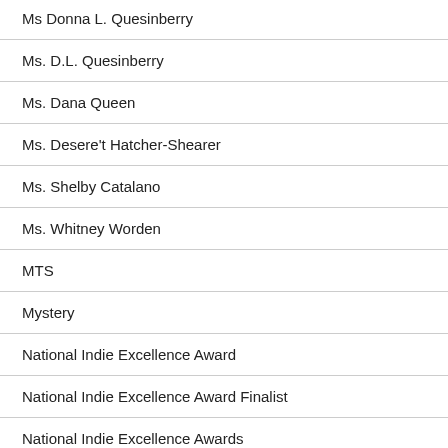Ms Donna L. Quesinberry
Ms. D.L. Quesinberry
Ms. Dana Queen
Ms. Desere't Hatcher-Shearer
Ms. Shelby Catalano
Ms. Whitney Worden
MTS
Mystery
National Indie Excellence Award
National Indie Excellence Award Finalist
National Indie Excellence Awards
neurological/psychological conditions
New Jersey